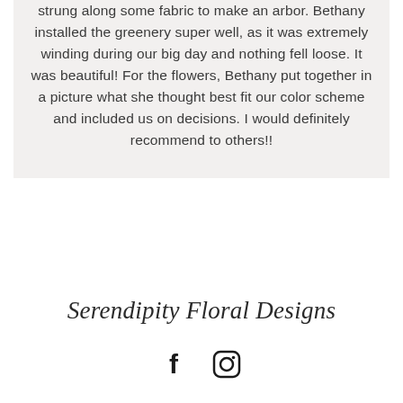strung along some fabric to make an arbor. Bethany installed the greenery super well, as it was extremely winding during our big day and nothing fell loose. It was beautiful! For the flowers, Bethany put together in a picture what she thought best fit our color scheme and included us on decisions. I would definitely recommend to others!!
Serendipity Floral Designs
[Figure (logo): Facebook and Instagram social media icons (black)]